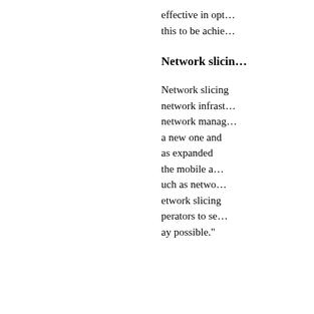effective in opt… this to be achie…
Network slicin…
Network slicing network infrastru… network manag… a new one and as expanded the mobile a… uch as netwo… etwork slicing… perators to se… ay possible."
IN THIS LIST
Nearing debt records, tech, media, telecom companies start to pare back